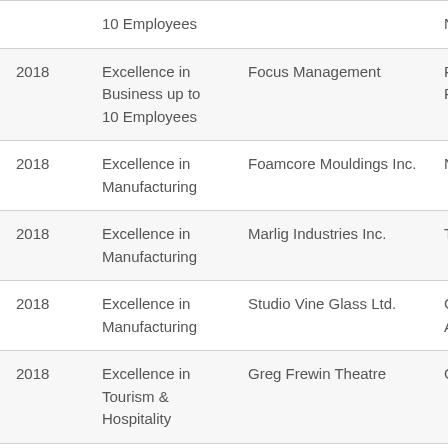| Year | Category | Company |  |
| --- | --- | --- | --- |
|  | 10 Employees |  | N |
| 2018 | Excellence in Business up to 10 Employees | Focus Management | R P |
| 2018 | Excellence in Manufacturing | Foamcore Mouldings Inc. | N |
| 2018 | Excellence in Manufacturing | Marlig Industries Inc. | T |
| 2018 | Excellence in Manufacturing | Studio Vine Glass Ltd. | C A |
| 2018 | Excellence in Tourism & Hospitality | Greg Frewin Theatre | C |